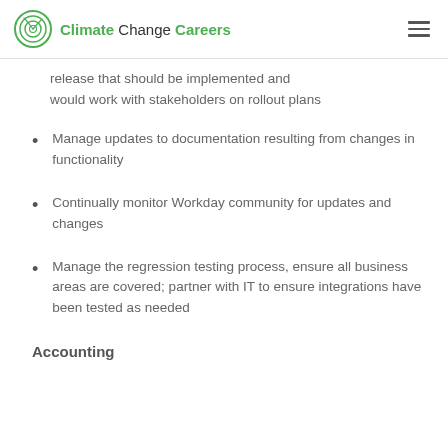Climate Change Careers
release that should be implemented and would work with stakeholders on rollout plans
Manage updates to documentation resulting from changes in functionality
Continually monitor Workday community for updates and changes
Manage the regression testing process, ensure all business areas are covered; partner with IT to ensure integrations have been tested as needed
Accounting